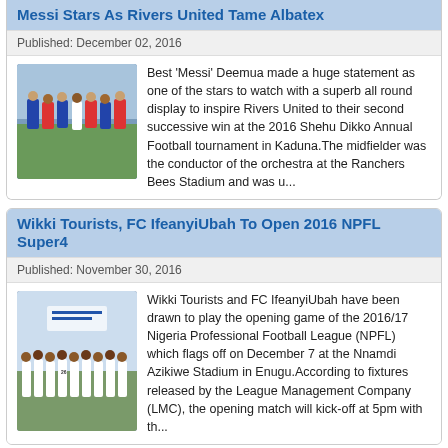Messi Stars As Rivers United Tame Albatex
Published: December 02, 2016
[Figure (photo): Football players in blue and red kits gathered on a pitch]
Best 'Messi' Deemua made a huge statement as one of the stars to watch with a superb all round display to inspire Rivers United to their second successive win at the 2016 Shehu Dikko Annual Football tournament in Kaduna.The midfielder was the conductor of the orchestra at the Ranchers Bees Stadium and was u...
Wikki Tourists, FC IfeanyiUbah To Open 2016 NPFL Super4
Published: November 30, 2016
[Figure (photo): Football players in white kits posing for a team photo]
Wikki Tourists and FC IfeanyiUbah have been drawn to play the opening game of the 2016/17 Nigeria Professional Football League (NPFL) which flags off on December 7 at the Nnamdi Azikiwe Stadium in Enugu.According to fixtures released by the League Management Company (LMC), the opening match will kick-off at 5pm with th...
Kogi United Set for Dana Cup in Denmark
Published: November 28, 2016